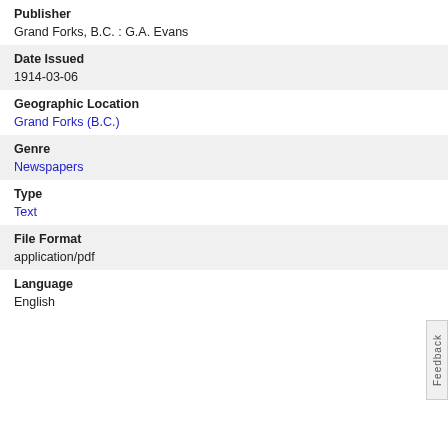Publisher
Grand Forks, B.C. : G.A. Evans
Date Issued
1914-03-06
Geographic Location
Grand Forks (B.C.)
Genre
Newspapers
Type
Text
File Format
application/pdf
Language
English